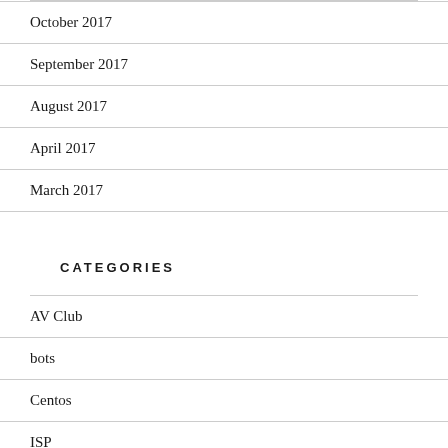October 2017
September 2017
August 2017
April 2017
March 2017
CATEGORIES
AV Club
bots
Centos
ISP